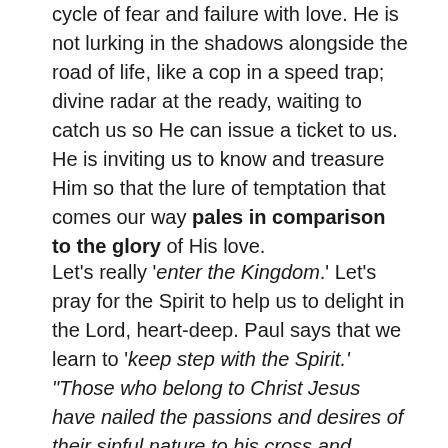cycle of fear and failure with love. He is not lurking in the shadows alongside the road of life, like a cop in a speed trap; divine radar at the ready, waiting to catch us so He can issue a ticket to us. He is inviting us to know and treasure Him so that the lure of temptation that comes our way pales in comparison to the glory of His love.
Let's really 'enter the Kingdom.' Let's pray for the Spirit to help us to delight in the Lord, heart-deep. Paul says that we learn to 'keep step with the Spirit.' "Those who belong to Christ Jesus have nailed the passions and desires of their sinful nature to his cross and crucified them there. Since we are living by the Spirit, let us